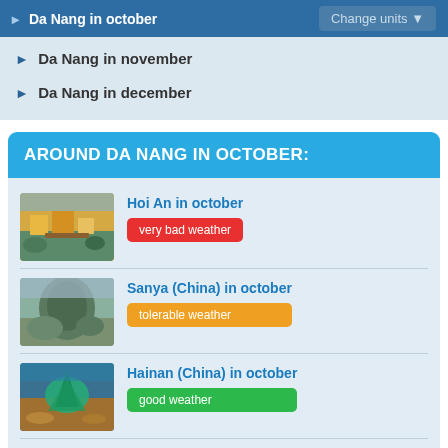Da Nang in october | Change units
Da Nang in november
Da Nang in december
AROUND DA NANG IN OCTOBER:
Hoi An in october — very bad weather
Sanya (China) in october — tolerable weather
Hainan (China) in october — good weather
Nha Trang in october — tolerable weather